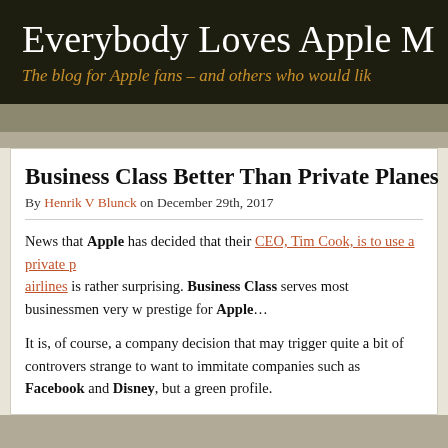Everybody Loves Apple M
The blog for Apple fans – and others who would lik
Business Class Better Than Private Planes
By Henrik V Blunck on December 29th, 2017
News that Apple has decided that their CEO, Tim Cook, is to use a private p airlines is rather surprising. Business Class serves most businessmen very w prestige for Apple…
It is, of course, a company decision that may trigger quite a bit of controv strange to want to immitate companies such as Facebook and Disney, but a green profile.